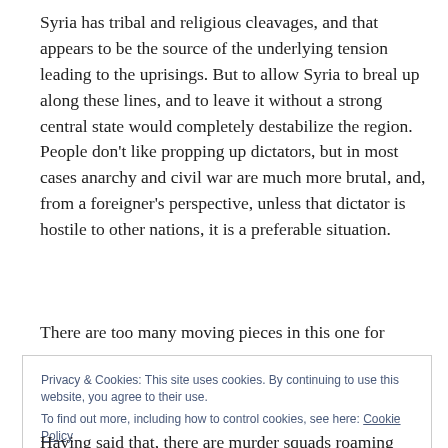Syria has tribal and religious cleavages, and that appears to be the source of the underlying tension leading to the uprisings. But to allow Syria to breal up along these lines, and to leave it without a strong central state would completely destabilize the region. People don't like propping up dictators, but in most cases anarchy and civil war are much more brutal, and, from a foreigner's perspective, unless that dictator is hostile to other nations, it is a preferable situation.
There are too many moving pieces in this one for
Privacy & Cookies: This site uses cookies. By continuing to use this website, you agree to their use.
To find out more, including how to control cookies, see here: Cookie Policy
Having said that, there are murder squads roaming